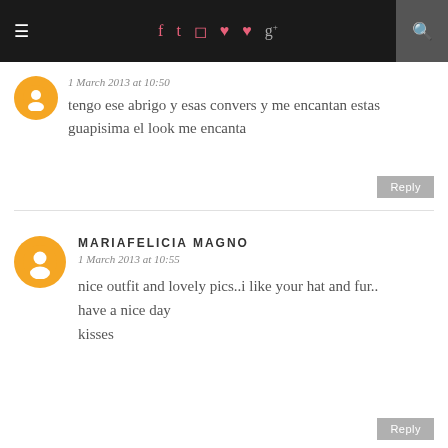≡  f  t  [instagram]  [pinterest]  [heart]  g+  [search]
1 March 2013 at 10:50
tengo ese abrigo y esas convers y me encantan estas guapisima el look me encanta
Reply
MARIAFELICIA MAGNO
1 March 2013 at 10:55
nice outfit and lovely pics..i like your hat and fur..
have a nice day
kisses
Reply